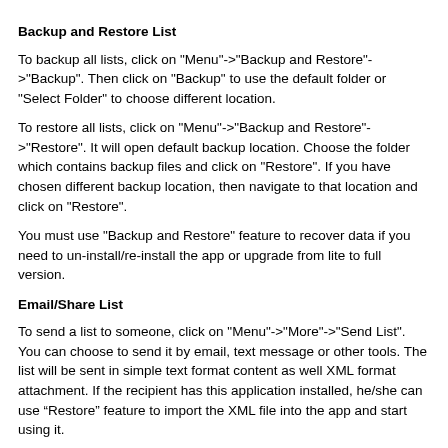Backup and Restore List
To backup all lists, click on "Menu"->"Backup and Restore"->"Backup". Then click on "Backup" to use the default folder or "Select Folder" to choose different location.
To restore all lists, click on "Menu"->"Backup and Restore"->"Restore". It will open default backup location. Choose the folder which contains backup files and click on "Restore". If you have chosen different backup location, then navigate to that location and click on "Restore".
You must use "Backup and Restore" feature to recover data if you need to un-install/re-install the app or upgrade from lite to full version.
Email/Share List
To send a list to someone, click on "Menu"->"More"->"Send List". You can choose to send it by email, text message or other tools. The list will be sent in simple text format content as well XML format attachment. If the recipient has this application installed, he/she can use “Restore” feature to import the XML file into the app and start using it.